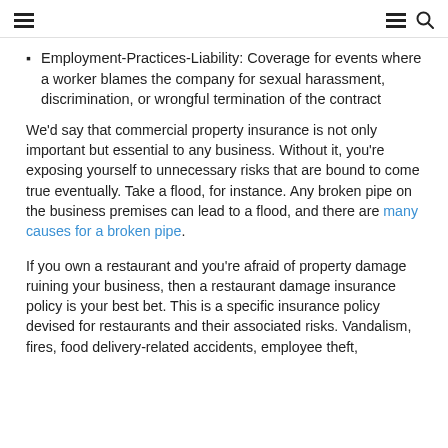≡   ≡ 🔍
Employment-Practices-Liability: Coverage for events where a worker blames the company for sexual harassment, discrimination, or wrongful termination of the contract
We'd say that commercial property insurance is not only important but essential to any business. Without it, you're exposing yourself to unnecessary risks that are bound to come true eventually. Take a flood, for instance. Any broken pipe on the business premises can lead to a flood, and there are many causes for a broken pipe.
If you own a restaurant and you're afraid of property damage ruining your business, then a restaurant damage insurance policy is your best bet. This is a specific insurance policy devised for restaurants and their associated risks. Vandalism, fires, food delivery-related accidents, employee theft,